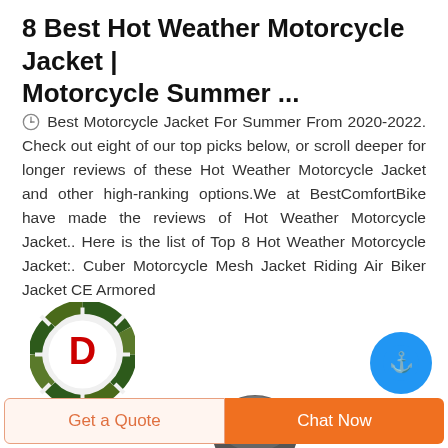8 Best Hot Weather Motorcycle Jacket | Motorcycle Summer ...
Best Motorcycle Jacket For Summer From 2020-2022. Check out eight of our top picks below, or scroll deeper for longer reviews of these Hot Weather Motorcycle Jacket and other high-ranking options.We at BestComfortBike have made the reviews of Hot Weather Motorcycle Jacket.. Here is the list of Top 8 Hot Weather Motorcycle Jacket:. Cuber Motorcycle Mesh Jacket Riding Air Biker Jacket CE Armored
[Figure (logo): DEEKON brand logo with circular camouflage pattern and red letter D in center, with red DEEKON text below]
[Figure (photo): Partial view of a motorcycle helmet]
[Figure (other): Blue circular anchor button/icon]
Get a Quote
Chat Now